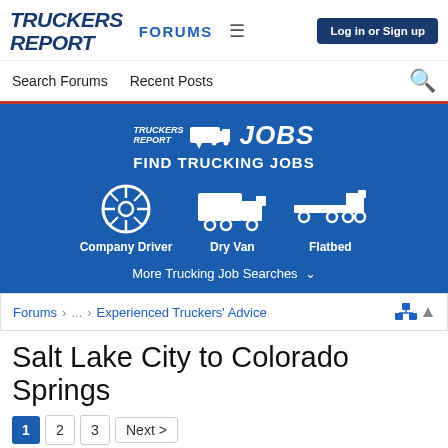TRUCKERS REPORT | FORUMS | Log in or Sign up
Search Forums   Recent Posts
[Figure (infographic): Truckers Report Jobs banner with logo, 'FIND TRUCKING JOBS' headline, and three job category icons: Company Driver (steering wheel), Dry Van (box truck), Flatbed (flatbed truck). Also shows 'More Trucking Job Searches' dropdown.]
Forums > ... > Experienced Truckers' Advice
Salt Lake City to Colorado Springs
1  2  3  Next >